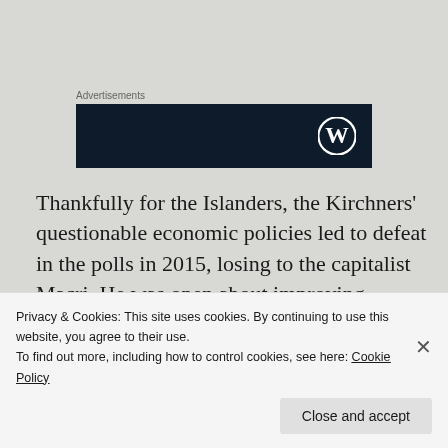Advertisements
[Figure (logo): WordPress logo on dark navy banner advertisement]
Thankfully for the Islanders, the Kirchners' questionable economic policies led to defeat in the polls in 2015, losing to the capitalist Macri.  He was open about improving relations with the United Kingdom and stuck to that. For the reasons already identified, he was unable
Privacy & Cookies: This site uses cookies. By continuing to use this website, you agree to their use.
To find out more, including how to control cookies, see here: Cookie Policy
Close and accept